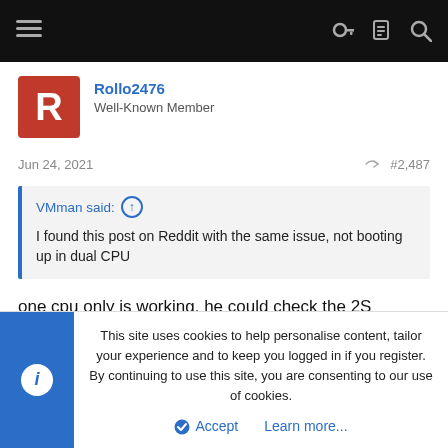Navigation bar with hamburger menu and icons
Rollo2476
Well-Known Member
Jun 24, 2021   #2,487
VMman said: ↑
I found this post on Reddit with the same issue, not booting up in dual CPU
one cpu only is working. he could check the 2S support with HWinfo.
This site uses cookies to help personalise content, tailor your experience and to keep you logged in if you register.
By continuing to use this site, you are consenting to our use of cookies.
Accept   Learn more...